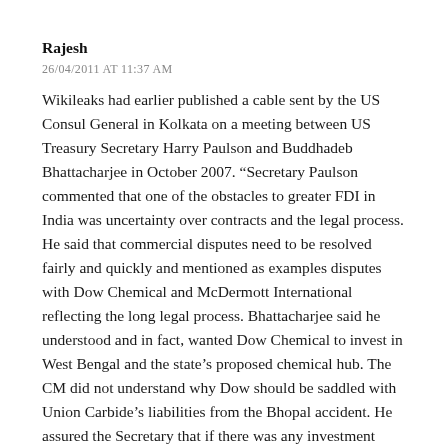Rajesh
26/04/2011 AT 11:37 AM
Wikileaks had earlier published a cable sent by the US Consul General in Kolkata on a meeting between US Treasury Secretary Harry Paulson and Buddhadeb Bhattacharjee in October 2007. “Secretary Paulson commented that one of the obstacles to greater FDI in India was uncertainty over contracts and the legal process. He said that commercial disputes need to be resolved fairly and quickly and mentioned as examples disputes with Dow Chemical and McDermott International reflecting the long legal process. Bhattacharjee said he understood and in fact, wanted Dow Chemical to invest in West Bengal and the state’s proposed chemical hub. The CM did not understand why Dow should be saddled with Union Carbide’s liabilities from the Bhopal accident. He assured the Secretary that if there was any investment problem, he would